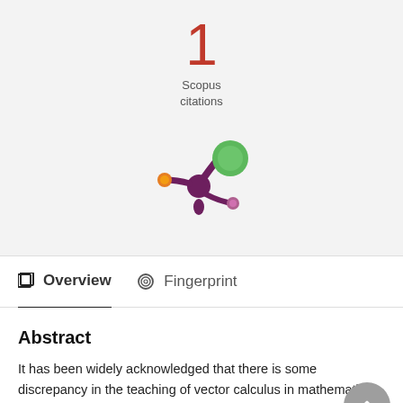1
Scopus citations
[Figure (logo): Altmetric logo — stylized molecule/splat shape with purple body, large green circle, small orange circle, and small pink/purple circle]
Overview
Fingerprint
Abstract
It has been widely acknowledged that there is some discrepancy in the teaching of vector calculus in mathematics courses and